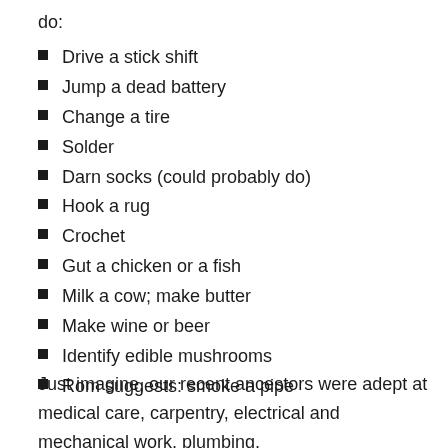do:
Drive a stick shift
Jump a dead battery
Change a tire
Solder
Darn socks (could probably do)
Hook a rug
Crochet
Gut a chicken or a fish
Milk a cow; make butter
Make wine or beer
Identify edible mushrooms
Rom suggests: smoke a pipe
Just imagine, our recent ancestors were adept at medical care, carpentry, electrical and mechanical work, plumbing,